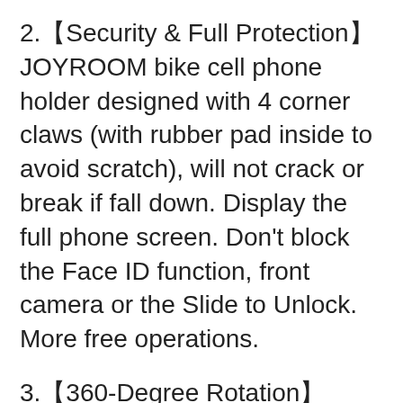2.【Security & Full Protection】JOYROOM bike cell phone holder designed with 4 corner claws (with rubber pad inside to avoid scratch), will not crack or break if fall down. Display the full phone screen. Don’t block the Face ID function, front camera or the Slide to Unlock. More free operations.
3.【360-Degree Rotation】JOYROOM bicycle phone mount compatible with mountain bike and road bike. Can rotate 360 degrees, guarantees your phone to display at any angle and most appropriate position that suits your preference
4.【Wide Compatibility】Compatible with most bike handlebars. Bike phone holder securely fit for any cell phone with phones screen size 4.7-7 inches: iPhone 13 12 11 Pro MAX XR XS MAX X 8 plus...